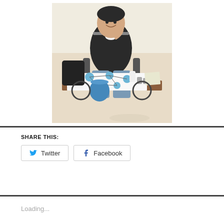[Figure (photo): A person sitting in a motorized wheelchair at a desk/table smiling at the camera. On the table in front of them is a white poster board with blue circles connected by lines (a network/graph diagram) along with various objects including cups, a blue lid, papers, and a bag.]
SHARE THIS:
Twitter
Facebook
Loading...